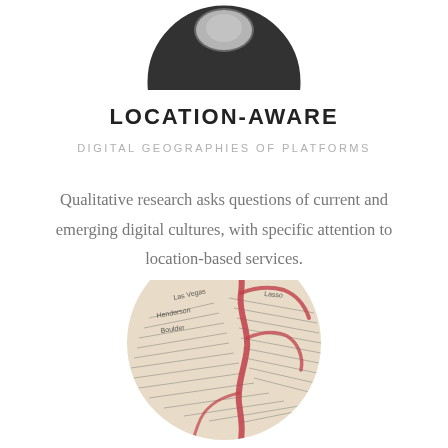[Figure (photo): Circular cropped photo showing a dark, moody scene with light reflections, partially visible at the top of the page]
LOCATION-AWARE
DIGITAL GEOGRAPHIES OF PLATFORMS
Qualitative research asks questions of current and emerging digital cultures, with specific attention to location-based services.
[Figure (photo): Circular cropped photo of an antique or vintage map showing handwritten place names including Las Vegas, Boulder, with pink/red illustrated veins or rivers overlaid on the map]